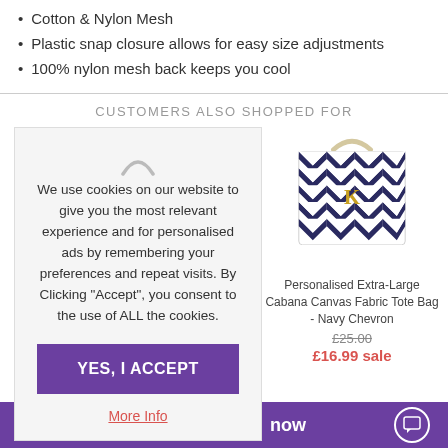Cotton & Nylon Mesh
Plastic snap closure allows for easy size adjustments
100% nylon mesh back keeps you cool
CUSTOMERS ALSO SHOPPED FOR
We use cookies on our website to give you the most relevant experience and for personalised ads by remembering your preferences and repeat visits. By Clicking "Accept", you consent to the use of ALL the cookies.
YES, I ACCEPT
More Info
[Figure (photo): Personalised Extra-Large Cabana Canvas Fabric Tote Bag with navy and white chevron pattern, rope handles, and gold letter K monogram]
Personalised Extra-Large Cabana Canvas Fabric Tote Bag - Navy Chevron
£25.00
£16.99 sale
now